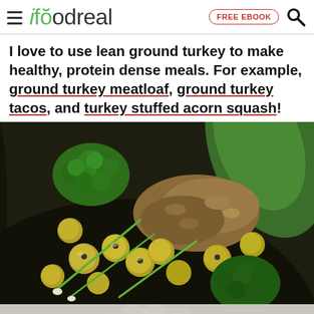ifoodreal | FREE EBOOK | Search
I love to use lean ground turkey to make healthy, protein dense meals. For example, ground turkey meatloaf, ground turkey tacos, and turkey stuffed acorn squash!
[Figure (photo): A dark skillet/pan filled with ground turkey, broccoli florets, green olives, and sliced green onions, with a large green leaf visible in the background.]
[Figure (photo): Partial faded image at the bottom, appears to show cauliflower or similar light-colored vegetables.]